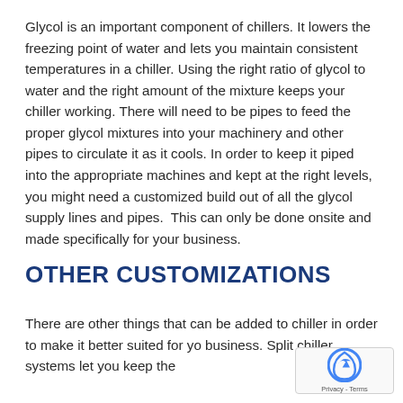Glycol is an important component of chillers. It lowers the freezing point of water and lets you maintain consistent temperatures in a chiller. Using the right ratio of glycol to water and the right amount of the mixture keeps your chiller working. There will need to be pipes to feed the proper glycol mixtures into your machinery and other pipes to circulate it as it cools. In order to keep it piped into the appropriate machines and kept at the right levels, you might need a customized build out of all the glycol supply lines and pipes.  This can only be done onsite and made specifically for your business.
OTHER CUSTOMIZATIONS
There are other things that can be added to chiller in order to make it better suited for yo business. Split chiller systems let you keep the